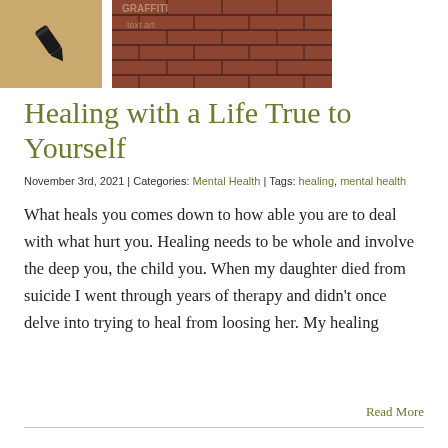[Figure (photo): Two images side by side: a tan/gold background with a black pen/quill icon, and a photo of graffiti on a brick wall]
Healing with a Life True to Yourself
November 3rd, 2021 | Categories: Mental Health | Tags: healing, mental health
What heals you comes down to how able you are to deal with what hurt you. Healing needs to be whole and involve the deep you, the child you. When my daughter died from suicide I went through years of therapy and didn't once delve into trying to heal from loosing her. My healing
Read More